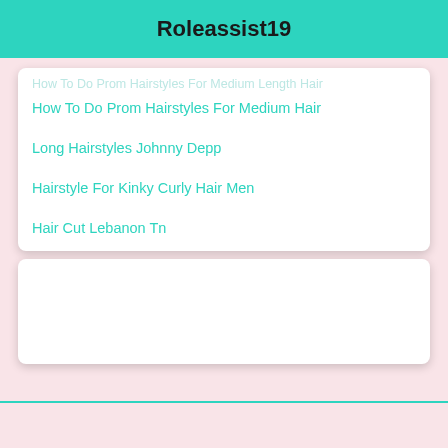Roleassist19
How To Do Prom Hairstyles For Medium Hair
Long Hairstyles Johnny Depp
Hairstyle For Kinky Curly Hair Men
Hair Cut Lebanon Tn